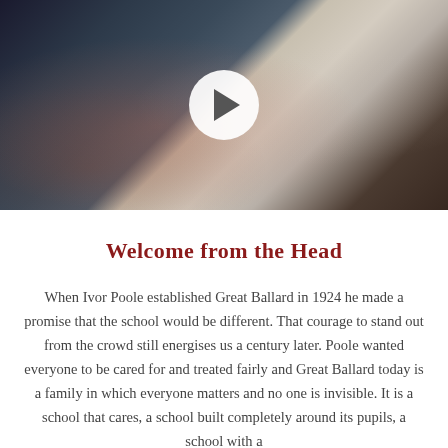[Figure (photo): A man in a dark suit with a red tie gesturing with his hands, seated in a formal setting with a wooden chair and curtain in the background. A white circular play button overlay is centered on the image, indicating this is a video thumbnail.]
Welcome from the Head
When Ivor Poole established Great Ballard in 1924 he made a promise that the school would be different. That courage to stand out from the crowd still energises us a century later. Poole wanted everyone to be cared for and treated fairly and Great Ballard today is a family in which everyone matters and no one is invisible. It is a school that cares, a school built completely around its pupils, a school with a